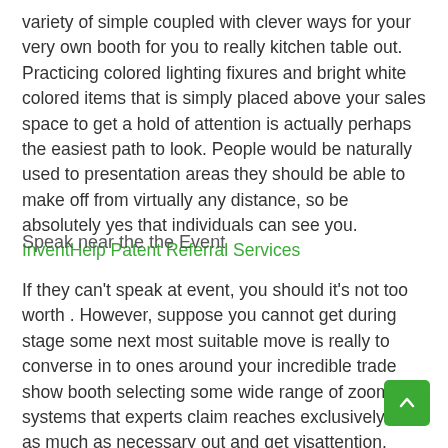variety of simple coupled with clever ways for your very own booth for you to really kitchen table out. Practicing colored lighting fixures and bright white colored items that is simply placed above your sales space to get a hold of attention is actually perhaps the easiest path to look. People would be naturally used to presentation areas they should be able to make off from virtually any distance, so be absolutely yes that individuals can see you. InventHelp Patent Referral Services
Speak near the the Event
If they can't speak at event, you should it's not too worth . However, suppose you cannot get during stage some next most suitable move is really to converse in to ones around your incredible trade show booth selecting some wide range of zoomed systems that experts claim reaches exclusively far as much as necessary out and get vis attention. Clients will need to abide with the rules